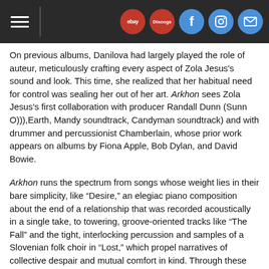Navigation bar with hamburger menu, ebay, Discogs, Facebook, Instagram, and mail icons
On previous albums, Danilova had largely played the role of auteur, meticulously crafting every aspect of Zola Jesus's sound and look. This time, she realized that her habitual need for control was sealing her out of her art. Arkhon sees Zola Jesus's first collaboration with producer Randall Dunn (Sunn O))),Earth, Mandy soundtrack, Candyman soundtrack) and with drummer and percussionist Chamberlain, whose prior work appears on albums by Fiona Apple, Bob Dylan, and David Bowie.
Arkhon runs the spectrum from songs whose weight lies in their bare simplicity, like “Desire,” an elegiac piano composition about the end of a relationship that was recorded acoustically in a single take, to towering, groove-oriented tracks like “The Fall” and the tight, interlocking percussion and samples of a Slovenian folk choir in “Lost,” which propel narratives of collective despair and mutual comfort in kind. Through these turns, Arkhon reveals itself as an album whose power derives from abandon. Both its turmoils and its pleasures take root in the body, letting individual consciousness dissolve into the thick of the beat.